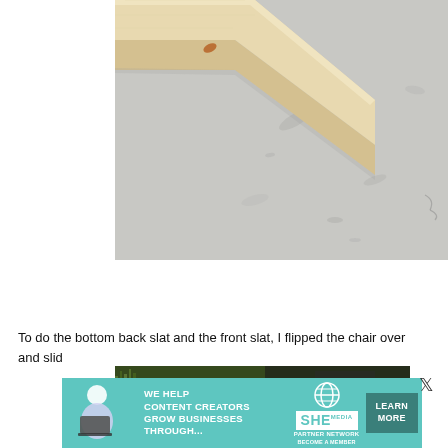[Figure (photo): Close-up photograph of a light-colored pine wood board or slat resting on a mottled grey concrete floor. The wood grain and texture are visible, with a small orange/rust-colored mark near one end.]
To do the bottom back slat and the front slat, I flipped the chair over and slid
[Figure (photo): Partial view of a garden or outdoor scene, partially obscured by an advertisement overlay.]
[Figure (infographic): Advertisement banner for SHE Media Partner Network with teal/green background. Shows a woman with a laptop, text reading 'WE HELP CONTENT CREATORS GROW BUSINESSES THROUGH...' with the SHE logo and a 'LEARN MORE' button and 'BECOME A MEMBER' text.]